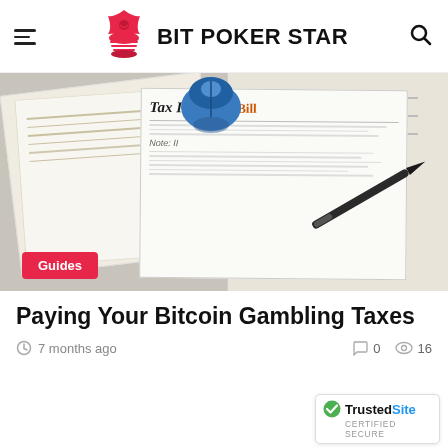BIT POKER STAR
[Figure (photo): Tax documents, papers with handwriting, a blue computer mouse, and a black pen on a desk, with visible text 'Tax Incentive' on one document. A 'Guides' badge is overlaid in the bottom-left corner.]
Paying Your Bitcoin Gambling Taxes
7 months ago  0  16